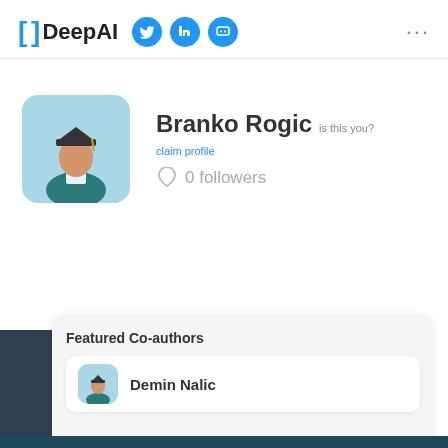[ ] DeepAI [Twitter] [LinkedIn] [Chat]
[Figure (illustration): Graduation avatar illustration: person wearing graduation cap and gown on light blue background]
Branko Rogic
is this you? claim profile
0 followers
Featured Co-authors
Demin Nalic